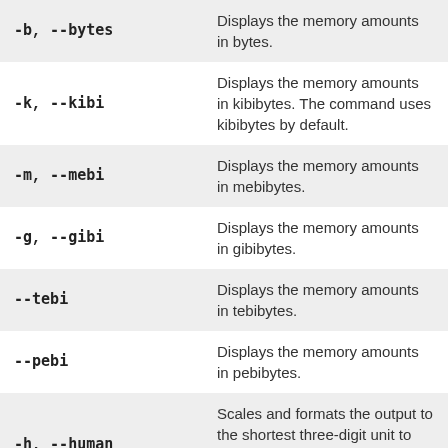| Command | Description |
| --- | --- |
| -b, --bytes | Displays the memory amounts in bytes. |
| -k, --kibi | Displays the memory amounts in kibibytes. The command uses kibibytes by default. |
| -m, --mebi | Displays the memory amounts in mebibytes. |
| -g, --gibi | Displays the memory amounts in gibibytes. |
| --tebi | Displays the memory amounts in tebibytes. |
| --pebi | Displays the memory amounts in pebibytes. |
| -h, --human | Scales and formats the output to the shortest three-digit unit to produce the most readable output. |